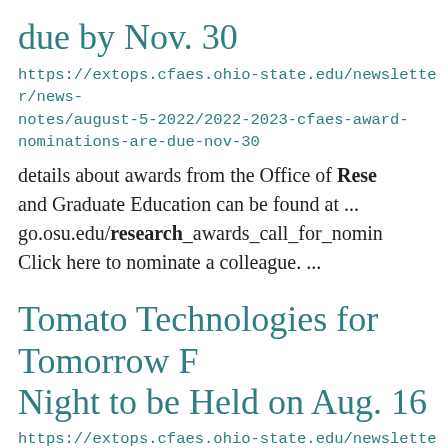due by Nov. 30
https://extops.cfaes.ohio-state.edu/newsletter/news-notes/august-5-2022/2022-2023-cfaes-award-nominations-are-due-nov-30
details about awards from the Office of Research and Graduate Education can be found at ... go.osu.edu/research_awards_call_for_nomin Click here to nominate a colleague. ...
Tomato Technologies for Tomorrow Field Night to be Held on Aug. 16
https://extops.cfaes.ohio-state.edu/newsletter/news-notes/august-5-2022/tomato-technologies-tomorrow-field-night-be-held-aug-16
will include Brad Bergefurd of Brandt Agricul and Ohio State researchers Rafiq Islam, Arif